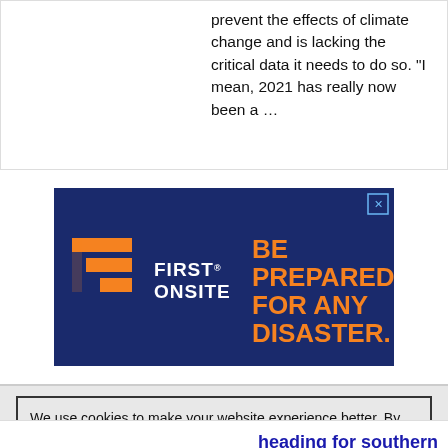prevent the effects of climate change and is lacking the critical data it needs to do so. "I mean, 2021 has really now been a ...
[Figure (other): Advertisement banner for First Onsite with dark navy background. Orange logo on left and orange bold text reading 'BE PREPARED FOR ANY DISASTER.' on the right.]
We use cookies to make your website experience better. By accepting this notice and continuing to browse our website you confirm you accept our Terms of Use & Privacy Policy.

read more >>
heading for southern